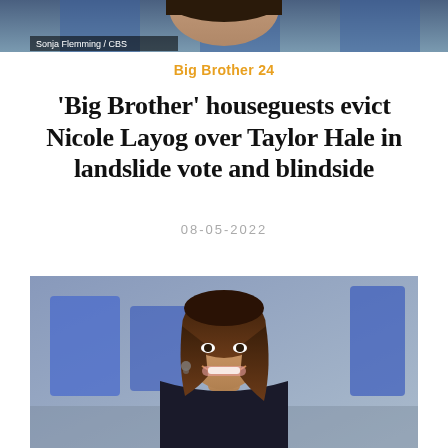[Figure (photo): Partial photo of a person from behind/top, with a CBS watermark overlay at bottom left reading 'Sonja Flemming / CBS']
Sonja Flemming / CBS
Big Brother 24
'Big Brother' houseguests evict Nicole Layog over Taylor Hale in landslide vote and blindside
08-05-2022
[Figure (photo): A smiling woman with brown hair in a TV studio with blue backdrop panels, appears to be a CBS Big Brother set]